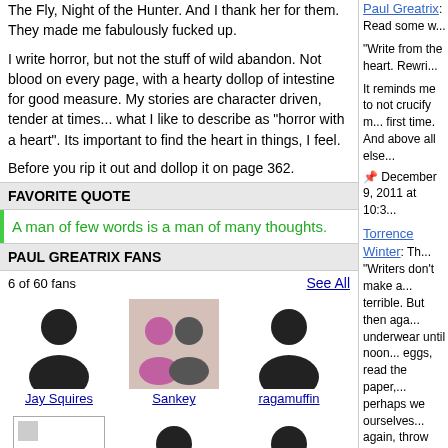The Fly, Night of the Hunter. And I thank her for them. They made me fabulously fucked up.
I write horror, but not the stuff of wild abandon. Not blood on every page, with a hearty dollop of intestine for good measure. My stories are character driven, tender at times... what I like to describe as "horror with a heart". Its important to find the heart in things, I feel.
Before you rip it out and dollop it on page 362.
FAVORITE QUOTE
A man of few words is a man of many thoughts.
PAUL GREATRIX FANS
6 of 60 fans
See All
Jay Squires
Sankey
ragamuffin
Paul Greatrix: Read some w...
"Write from the heart. Rewri...
It reminds me to not crucify m... first time. And above all else...
December 9, 2011 at 10:3...
Torrence Winter: Th...
"Writers don't make a... terrible. But then aga... underwear until noon... eggs, read the paper,... perhaps we ourselves... again, throw the boo... that any other person... throwing the schmuc... wonder if God in hea... laziness. We then lie... God to forgive us be... up all our words beca... And for this, as I sai... more." --Donald Mil...
January 3, 2012 at 7:...